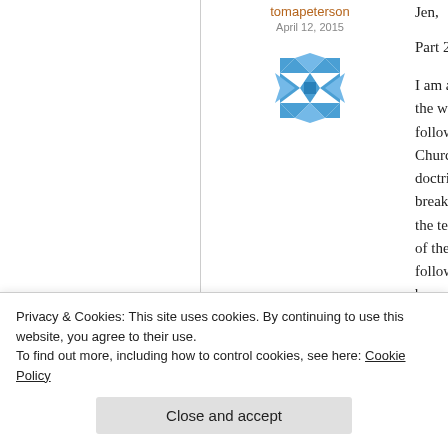tomapeterson
April 12, 2015
[Figure (illustration): Blue geometric/quilt-pattern avatar icon for user tomapeterson]
Jen,
Part 2:
I am also a former ... the way, but still a ... following the doctr... Churches (or any o... doctrine often enter... breaking from the C... the teachings of Jes... of the Bible. How r... followers that all tr... because faith and a... between us individ... beliefs about Jesus... hi...
Privacy & Cookies: This site uses cookies. By continuing to use this website, you agree to their use.
To find out more, including how to control cookies, see here: Cookie Policy
Close and accept